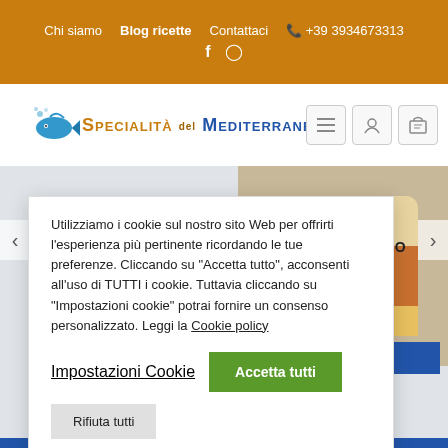Chi siamo  Blog ricette  Contattaci  +39 3934673313
[Figure (screenshot): Website header for Specialità del Mediterraneo with orange navigation bar, logo, blue bar, product image partially visible, and cookie consent popup overlay.]
Utilizziamo i cookie sul nostro sito Web per offrirti l'esperienza più pertinente ricordando le tue preferenze. Cliccando su "Accetta tutto", acconsenti all'uso di TUTTI i cookie. Tuttavia cliccando su "Impostazioni cookie" potrai fornire un consenso personalizzato. Leggi la Cookie policy
Impostazioni Cookie
Accetta tutti
Rifiuta tutti
RVE DI PESCE
ON POMODORO IN OLIO D'OLIVA 220G.
i0 IVA inclusa
NEL CARRELLO